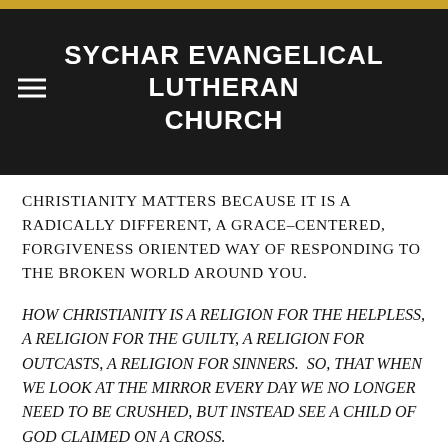SYCHAR EVANGELICAL LUTHERAN CHURCH
CHRISTIANITY MATTERS BECAUSE IT IS A RADICALLY DIFFERENT, A GRACE-CENTERED, FORGIVENESS ORIENTED WAY OF RESPONDING TO THE BROKEN WORLD AROUND YOU.
HOW CHRISTIANITY IS A RELIGION FOR THE HELPLESS, A RELIGION FOR THE GUILTY, A RELIGION FOR OUTCASTS, A RELIGION FOR SINNERS. SO, THAT WHEN WE LOOK AT THE MIRROR EVERY DAY WE NO LONGER NEED TO BE CRUSHED, BUT INSTEAD SEE A CHILD OF GOD CLAIMED ON A CROSS.
“YOU ARE THE SALT OF THE EARTH”, “YOU ARE THE LIGHT OF THE WORLD”, AND “YOU ARE THE CITY ON THE HILL THAT CANNOT BE